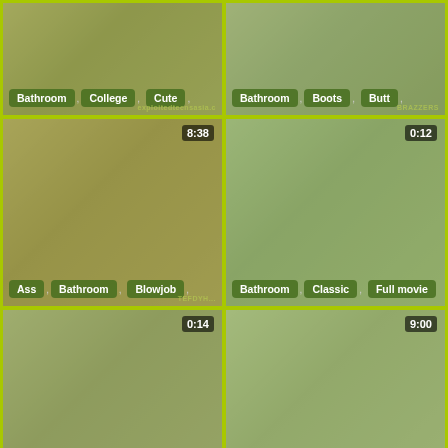[Figure (screenshot): Video thumbnail grid cell 1 - tags: Bathroom, College, Cute. Watermark: exploitedteensasia.c]
[Figure (screenshot): Video thumbnail grid cell 2 - tags: Bathroom, Boots, Butt. Watermark: BRAZZERS]
[Figure (screenshot): Video thumbnail grid cell 3 - timestamp 8:38 - tags: Ass, Bathroom, Blowjob. Watermark: TEPDYH...]
[Figure (screenshot): Video thumbnail grid cell 4 - timestamp 0:12 - tags: Bathroom, Classic, Full movie]
[Figure (screenshot): Video thumbnail grid cell 5 - timestamp 0:14 - tags: Bathroom, Big cock, Dick. Watermark: BRAZZERS]
[Figure (screenshot): Video thumbnail grid cell 6 - timestamp 9:00 - tags: Bathroom, Bed, Big clit]
[Figure (screenshot): Video thumbnail grid cell 7 - timestamp 0:02 - watermark: nutts]
[Figure (screenshot): Video thumbnail grid cell 8 - timestamp 4:55]